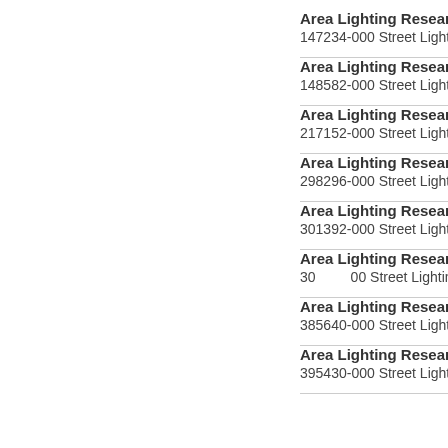Area Lighting Research 147...
147234-000 Street Lighting P...
Area Lighting Research 148...
148582-000 Street Lighting P...
Area Lighting Research 217...
217152-000 Street Lighting P...
Area Lighting Research 298...
298296-000 Street Lighting P...
Area Lighting Research 301...
301392-000 Street Lighting P...
Area Lighting Research 301...
301...00 Street Lighting P...
Area Lighting Research 385...
385640-000 Street Lighting P...
Area Lighting Research 395...
395430-000 Street Lighting P...